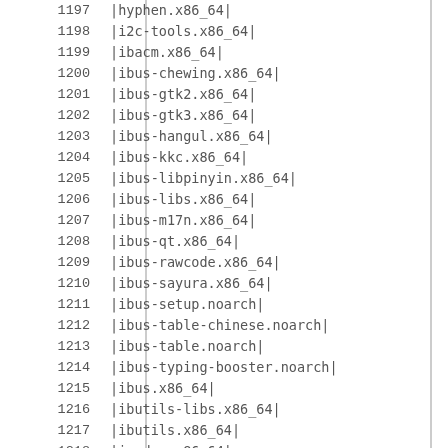| line | package |
| --- | --- |
| 1197 | |hyphen.x86_64| |
| 1198 | |i2c-tools.x86_64| |
| 1199 | |ibacm.x86_64| |
| 1200 | |ibus-chewing.x86_64| |
| 1201 | |ibus-gtk2.x86_64| |
| 1202 | |ibus-gtk3.x86_64| |
| 1203 | |ibus-hangul.x86_64| |
| 1204 | |ibus-kkc.x86_64| |
| 1205 | |ibus-libpinyin.x86_64| |
| 1206 | |ibus-libs.x86_64| |
| 1207 | |ibus-m17n.x86_64| |
| 1208 | |ibus-qt.x86_64| |
| 1209 | |ibus-rawcode.x86_64| |
| 1210 | |ibus-sayura.x86_64| |
| 1211 | |ibus-setup.noarch| |
| 1212 | |ibus-table-chinese.noarch| |
| 1213 | |ibus-table.noarch| |
| 1214 | |ibus-typing-booster.noarch| |
| 1215 | |ibus.x86_64| |
| 1216 | |ibutils-libs.x86_64| |
| 1217 | |ibutils.x86_64| |
| 1218 | |icedax.x86_64| |
| 1219 | |icedtea-web.x86_64| |
| 1220 | |icoutils.x86_64| |
| 1221 | |ilmbase.x86_64| |